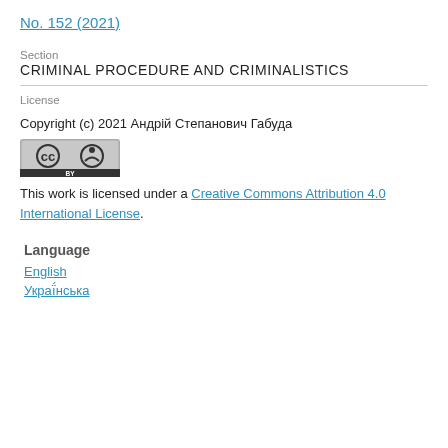No. 152 (2021)
Section
CRIMINAL PROCEDURE AND CRIMINALISTICS
License
Copyright (c) 2021 Андрій Степанович Габуда
[Figure (logo): Creative Commons BY license badge]
This work is licensed under a Creative Commons Attribution 4.0 International License.
Language
English
Українська